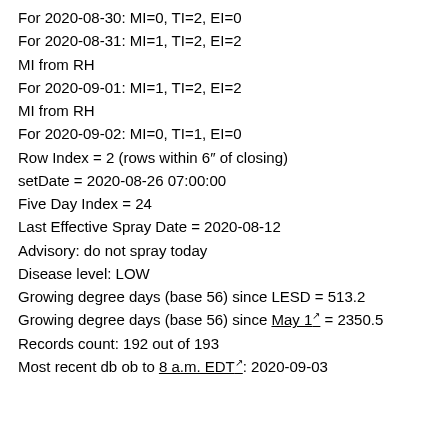For 2020-08-30: MI=0, TI=2, EI=0
For 2020-08-31: MI=1, TI=2, EI=2
MI from RH
For 2020-09-01: MI=1, TI=2, EI=2
MI from RH
For 2020-09-02: MI=0, TI=1, EI=0
Row Index = 2 (rows within 6" of closing)
setDate = 2020-08-26 07:00:00
Five Day Index = 24
Last Effective Spray Date = 2020-08-12
Advisory: do not spray today
Disease level: LOW
Growing degree days (base 56) since LESD = 513.2
Growing degree days (base 56) since May 1 = 2350.5
Records count: 192 out of 193
Most recent db ob to 8 a.m. EDT: 2020-09-03